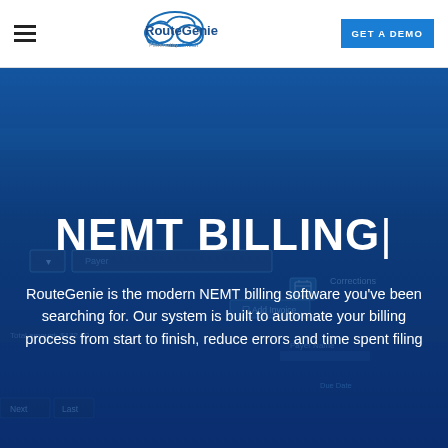[Figure (logo): RouteGenie logo with cloud icon and 'Powered by iSiTech' tagline]
GET A DEMO
NEMT BILLING|
[Figure (screenshot): Background screenshot of RouteGenie NEMT billing software UI showing invoice interface]
RouteGenie is the modern NEMT billing software you've been searching for. Our system is built to automate your billing process from start to finish, reduce errors and time spent filing